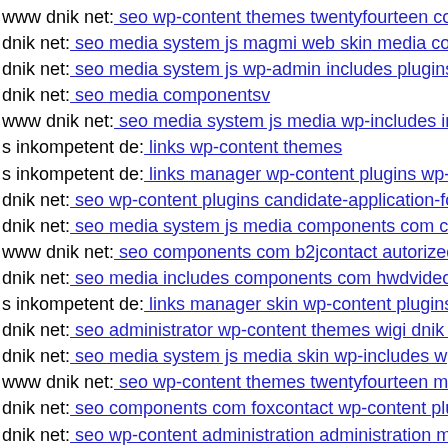www dnik net: seo wp-content themes twentyfourteen core
dnik net: seo media system js magmi web skin media comp
dnik net: seo media system js wp-admin includes plugins c
dnik net: seo media componentsv
www dnik net: seo media system js media wp-includes inc
s inkompetent de: links wp-content themes
s inkompetent de: links manager wp-content plugins wp-fi
dnik net: seo wp-content plugins candidate-application-for
dnik net: seo media system js media components com crea
www dnik net: seo components com b2jcontact autorized p
dnik net: seo media includes components com hwdvideosh
s inkompetent de: links manager skin wp-content plugins v
dnik net: seo administrator wp-content themes wigi dnik n
dnik net: seo media system js media skin wp-includes wp-
www dnik net: seo wp-content themes twentyfourteen m c
dnik net: seo components com foxcontact wp-content plug
dnik net: seo wp-content administration administration mo
www s inkompetent de: links app etc skin administrator ad
dnik net: seo wp-content themes twentyten
dnik net: seo media system js skin tmp s inkompetent de
www dnik net: seo js tinymce haxor php